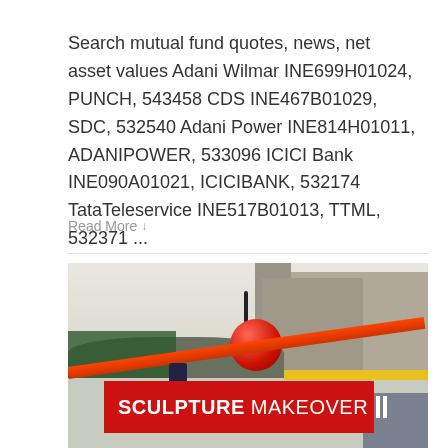Search mutual fund quotes, news, net asset values Adani Wilmar INE699H01024, PUNCH, 543458 CDS INE467B01029, SDC, 532540 Adani Power INE814H01011, ADANIPOWER, 533096 ICICI Bank INE090A01021, ICICIBANK, 532174 TataTeleservice INE517B01013, TTML, 532371 ...
Read More ↓
[Figure (photo): Outdoor winter scene showing a large red cherry sculpture (spoon bridge and cherry) with a crane and workers nearby, buildings in the background, snow on the ground. A red news banner at the bottom reads 'SCULPTURE MAKEOVER'.]